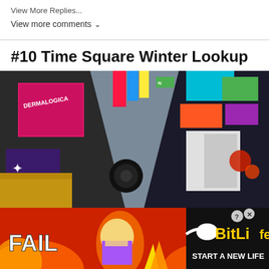View More Replies...
View more comments ∨
#10 Time Square Winter Lookup
[Figure (photo): Upward-looking fisheye/wide-angle photograph of Times Square buildings and illuminated billboards in winter, with neon signs and skyscrapers converging toward a grey sky in the center.]
[Figure (screenshot): Advertisement banner for BitLife mobile game showing 'FAIL' text, cartoon character face-palming with flames, and 'START A NEW LIFE' text on black background with close/question mark buttons.]